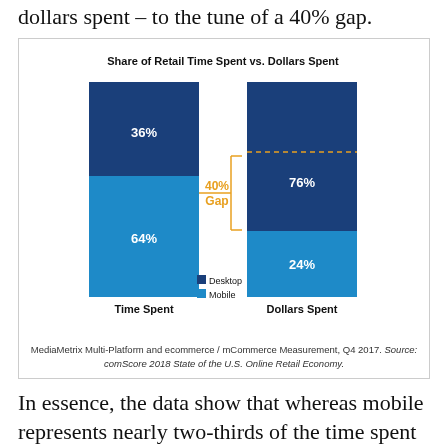dollars spent – to the tune of a 40% gap.
[Figure (stacked-bar-chart): Share of Retail Time Spent vs. Dollars Spent]
MediaMetrix Multi-Platform and ecommerce / mCommerce Measurement, Q4 2017. Source: comScore 2018 State of the U.S. Online Retail Economy.
In essence, the data show that whereas mobile represents nearly two-thirds of the time spent with online retail, it accounts for only one-fourth of the dollars spent on goods and